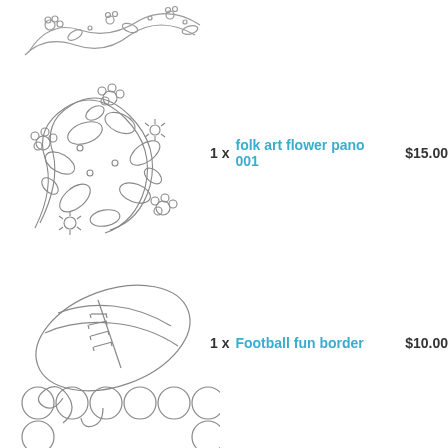[Figure (illustration): Partial embroidery pattern of floral/vine design, cropped at top of page]
[Figure (illustration): Embroidery outline pattern of folk art flowers and vines with leaves]
1 x folk art flower pano 001   $15.00
[Figure (illustration): Embroidery outline pattern of a football with decorative curls]
1 x Football fun border   $10.00
[Figure (illustration): Embroidery outline pattern showing circles/bubbles arranged in rows, partially visible at bottom]